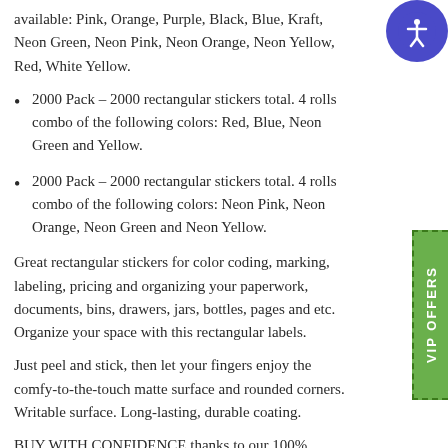available: Pink, Orange, Purple, Black, Blue, Kraft, Neon Green, Neon Pink, Neon Orange, Neon Yellow, Red, White Yellow.
2000 Pack – 2000 rectangular stickers total. 4 rolls combo of the following colors: Red, Blue, Neon Green and Yellow.
2000 Pack – 2000 rectangular stickers total. 4 rolls combo of the following colors: Neon Pink, Neon Orange, Neon Green and Neon Yellow.
Great rectangular stickers for color coding, marking, labeling, pricing and organizing your paperwork, documents, bins, drawers, jars, bottles, pages and etc. Organize your space with this rectangular labels.
Just peel and stick, then let your fingers enjoy the comfy-to-the-touch matte surface and rounded corners. Writable surface. Long-lasting, durable coating.
BUY WITH CONFIDENCE thanks to our 100% money-back guarantee AND Make a difference with your purchase – this product is packaged by the business services program at